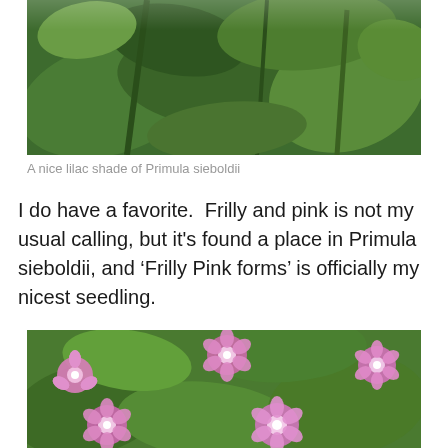[Figure (photo): Close-up photo of green foliage — leaves and stems of a plant, likely Primula sieboldii, cropped at top showing only green parts]
A nice lilac shade of Primula sieboldii
I do have a favorite.  Frilly and pink is not my usual calling, but it's found a place in Primula sieboldii, and ‘Frilly Pink forms’ is officially my nicest seedling.
[Figure (photo): Close-up photograph of pink frilly Primula sieboldii flowers with white centers, surrounded by green lobed leaves]